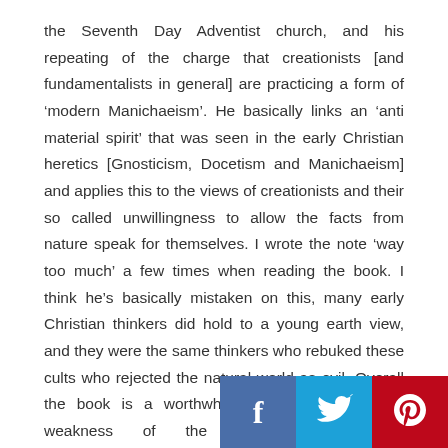the Seventh Day Adventist church, and his repeating of the charge that creationists [and fundamentalists in general] are practicing a form of 'modern Manichaeism'. He basically links an 'anti material spirit' that was seen in the early Christian heretics [Gnosticism, Docetism and Manichaeism] and applies this to the views of creationists and their so called unwillingness to allow the facts from nature speak for themselves. I wrote the note 'way too much' a few times when reading the book. I think he's basically mistaken on this, many early Christian thinkers did hold to a young earth view, and they were the same thinkers who rebuked these cults who rejected the natural world as evil. Overall the book is a worthwhile read, it exposes the weakness of the fundamental/evangelical movement to 'think Christianly' about the world and society around
[Figure (other): Social sharing buttons bar at bottom right: Facebook (blue), Twitter (light blue), Pinterest (red)]